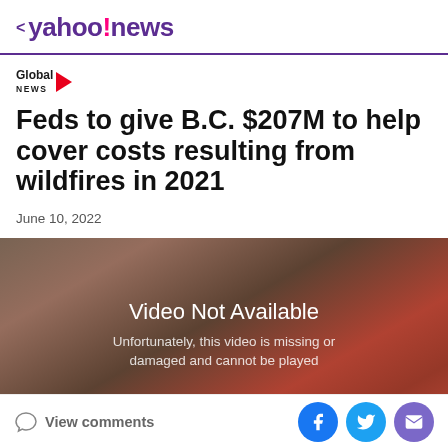< yahoo!news
[Figure (logo): Global News logo with red arrow]
Feds to give B.C. $207M to help cover costs resulting from wildfires in 2021
June 10, 2022
[Figure (screenshot): Video player showing 'Video Not Available — Unfortunately, this video is missing or damaged and cannot be played']
View comments | Facebook share | Twitter share | Email share